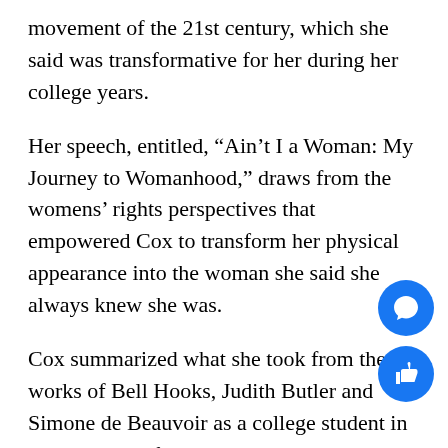movement of the 21st century, which she said was transformative for her during her college years.
Her speech, entitled, “Ain’t I a Woman: My Journey to Womanhood,” draws from the womens’ rights perspectives that empowered Cox to transform her physical appearance into the woman she said she always knew she was.
Cox summarized what she took from the works of Bell Hooks, Judith Butler and Simone de Beauvoir as a college student in NYC years before her physical transition into a female-bodied person.
“One is not born a woman, but becomes one, and the one who becomes a woman isn’t necessarily fema… and ain’t I a woman? Sojourner Truth spoke those iconic words, ‘Ain’t I a woman,’ at an entirely wom… convention in 1861 in the context of the women’s… liberation struggle that suggested that she wasn’t…